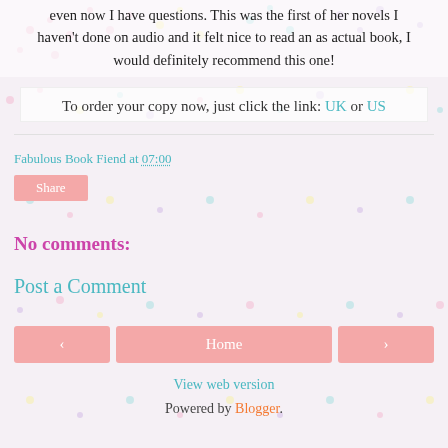even now I have questions. This was the first of her novels I haven't done on audio and it felt nice to read an as actual book, I would definitely recommend this one!
To order your copy now, just click the link: UK or US
Fabulous Book Fiend at 07:00
Share
No comments:
Post a Comment
Home
View web version
Powered by Blogger.